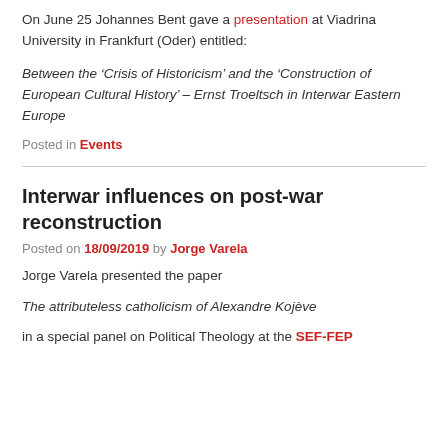On June 25 Johannes Bent gave a presentation at Viadrina University in Frankfurt (Oder) entitled:
Between the ‘Crisis of Historicism’ and the ‘Construction of European Cultural History’ – Ernst Troeltsch in Interwar Eastern Europe
Posted in Events
Interwar influences on post-war reconstruction
Posted on 18/09/2019 by Jorge Varela
Jorge Varela presented the paper
The attributeless catholicism of Alexandre Kojève
in a special panel on Political Theology at the SEF-FEP